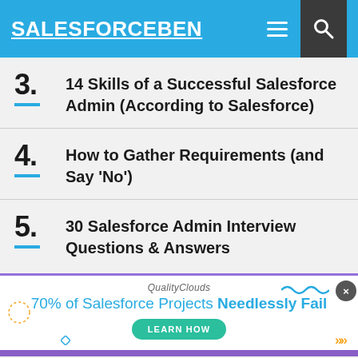SALESFORCEBEN
3. 14 Skills of a Successful Salesforce Admin (According to Salesforce)
4. How to Gather Requirements (and Say 'No')
5. 30 Salesforce Admin Interview Questions & Answers
[Figure (infographic): Advertisement banner for Quality Clouds: '70% of Salesforce Projects Needlessly Fail' with a LEARN HOW button]